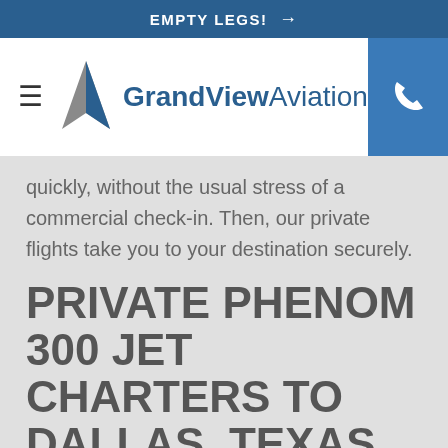EMPTY LEGS! →
[Figure (logo): GrandView Aviation logo with chevron/arrow icon in grey and blue, hamburger menu icon on left, phone icon on right in blue box]
quickly, without the usual stress of a commercial check-in. Then, our private flights take you to your destination securely.
PRIVATE PHENOM 300 JET CHARTERS TO DALLAS, TEXAS
GrandView Aviation's fleet of Phenom 300 jets allows for a luxurious flight experience. With top speeds of 500 mph and ranges of more than 2,000 miles